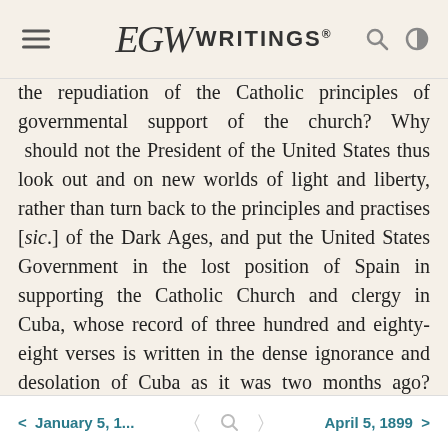EGW WRITINGS®
the repudiation of the Catholic principles of governmental support of the church? Why should not the President of the United States thus look out and on new worlds of light and liberty, rather than turn back to the principles and practises [sic.] of the Dark Ages, and put the United States Government in the lost position of Spain in supporting the Catholic Church and clergy in Cuba, whose record of three hundred and eighty-eight verses is written in the dense ignorance and desolation of Cuba as it was two months ago? Why? SITI January 11, 1899, page 34.12
ALONZO T. JONES.
< January 5, 1...   April 5, 1899 >